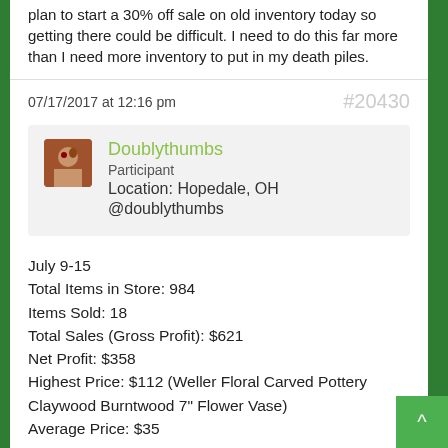plan to start a 30% off sale on old inventory today so getting there could be difficult. I need to do this far more than I need more inventory to put in my death piles.
07/17/2017 at 12:16 pm  #20430
Doublythumbs
Participant
Location: Hopedale, OH
@doublythumbs
July 9-15
Total Items in Store: 984
Items Sold: 18
Total Sales (Gross Profit): $621
Net Profit: $358
Highest Price: $112 (Weller Floral Carved Pottery Claywood Burntwood 7" Flower Vase)
Average Price: $35